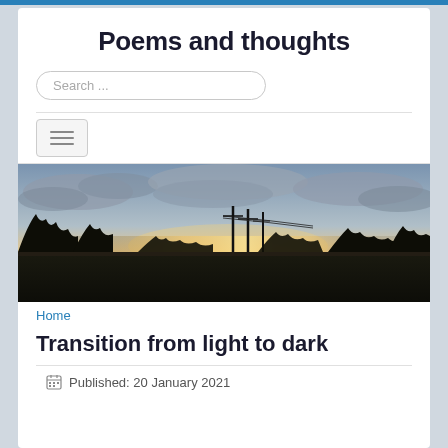Poems and thoughts
[Figure (screenshot): Search input box with placeholder text 'Search ...' and rounded border]
[Figure (screenshot): Hamburger menu button with three horizontal lines]
[Figure (photo): Panoramic landscape photo at dusk showing a dark field silhouette with trees and power lines against a cloudy sky with sunset light on the horizon]
Home
Transition from light to dark
Published: 20 January 2021